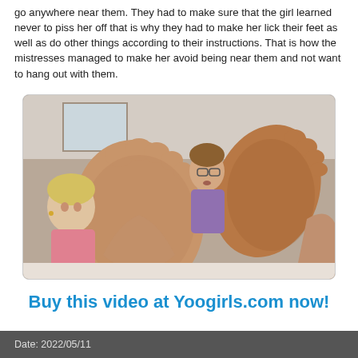go anywhere near them. They had to make sure that the girl learned never to piss her off that is why they had to make her lick their feet as well as do other things according to their instructions. That is how the mistresses managed to make her avoid being near them and not want to hang out with them.
[Figure (photo): Photo of two women showing feet toward camera, with a third person in the background wearing glasses and a purple top]
Buy this video at Yoogirls.com now!
Date: 2022/05/11